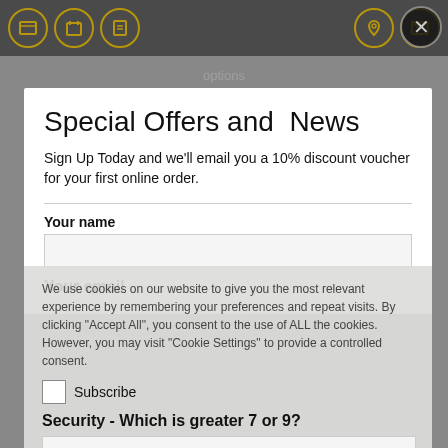[Figure (screenshot): Top navigation bar with golden circular icon buttons on dark background]
Special Offers and  News
Sign Up Today and we'll email you a 10% discount voucher for your first online order.
Your name
Your email
We use cookies on our website to give you the most relevant experience by remembering your preferences and repeat visits. By clicking "Accept All", you consent to the use of ALL the cookies. However, you may visit "Cookie Settings" to provide a controlled consent.
Subscribe
Security - Which is greater 7 or 9?